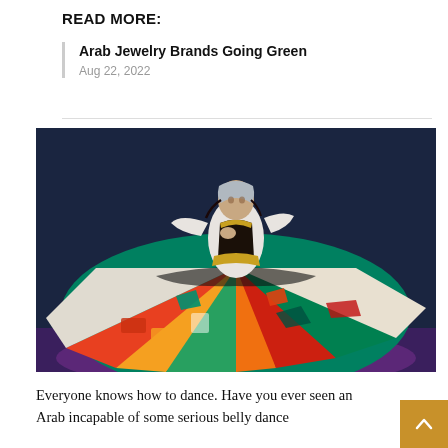READ MORE:
Arab Jewelry Brands Going Green
Aug 22, 2022
[Figure (photo): A whirling dervish performer in colorful spinning costume with vibrant red, orange, green, and blue geometric patterns on the skirt, wearing a white shirt and dark vest, photographed against a dark blue background with purple stage lighting.]
Everyone knows how to dance. Have you ever seen an Arab incapable of some serious belly dance